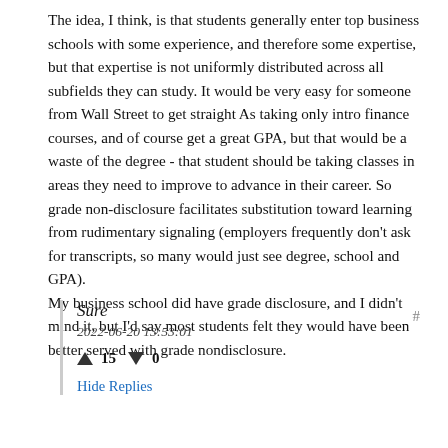The idea, I think, is that students generally enter top business schools with some experience, and therefore some expertise, but that expertise is not uniformly distributed across all subfields they can study. It would be very easy for someone from Wall Street to get straight As taking only intro finance courses, and of course get a great GPA, but that would be a waste of the degree - that student should be taking classes in areas they need to improve to advance in their career. So grade non-disclosure facilitates substitution toward learning from rudimentary signaling (employers frequently don't ask for transcripts, so many would just see degree, school and GPA).
My business school did have grade disclosure, and I didn't mind it, but I'd say most students felt they would have been better served with grade nondisclosure.
Sure
2022-06-20 13:53:01
▲ 15 ▼ 0
Hide Replies